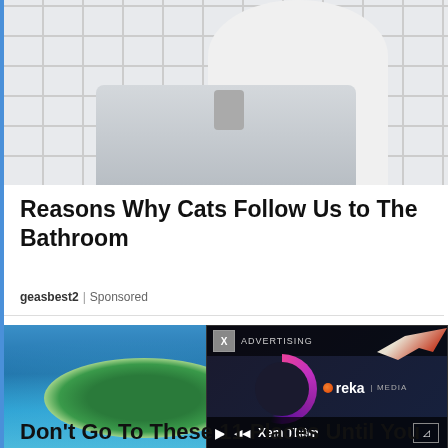[Figure (photo): Person in white shirt washing hands or doing something at a bathroom sink with white subway tiles in background]
Reasons Why Cats Follow Us to The Bathroom
geasbest2 | Sponsored
[Figure (photo): Aerial view of a tropical island atoll surrounded by turquoise water, with an advertising overlay showing Ureka Media logo and video player controls with 'Xem Thêm' text]
Don't Go To These 11 Places Until You